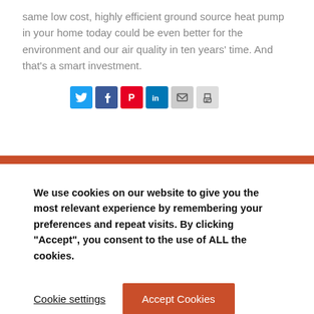same low cost, highly efficient ground source heat pump in your home today could be even better for the environment and our air quality in ten years' time. And that's a smart investment.
[Figure (other): Social sharing icons: Twitter (blue bird), Facebook (blue f), Pinterest (red P), LinkedIn (blue in), Email (grey envelope), Print (grey printer)]
We use cookies on our website to give you the most relevant experience by remembering your preferences and repeat visits. By clicking "Accept", you consent to the use of ALL the cookies.
Cookie settings   Accept Cookies